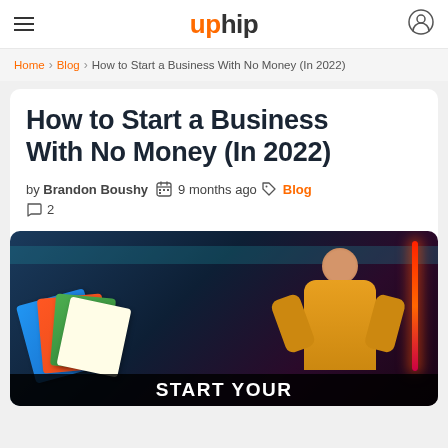uphip
Home > Blog > How to Start a Business With No Money (In 2022)
How to Start a Business With No Money (In 2022)
by Brandon Boushy  9 months ago  Blog  2
[Figure (photo): Man in yellow polo shirt holding flyers/pamphlets, pointing at them, with neon lighting in background and text overlay START YOUR]